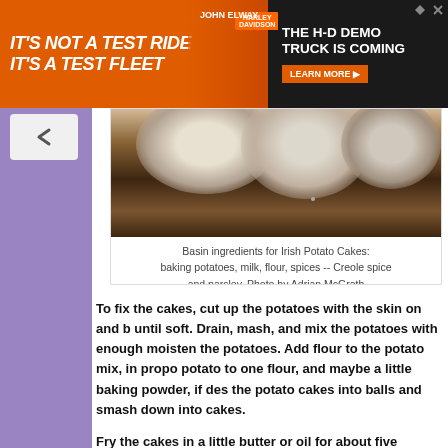[Figure (photo): Advertisement banner: orange background with 'IT'S NOT A TEST RIDE IT'S A TEST FLEET' text on left; Harley-Davidson HD Demo Truck is Coming with Learn More button on right]
[Figure (photo): Photo of a basin/bowl with ingredients for Irish Potato Cakes on a kitchen counter]
Basin ingredients for Irish Potato Cakes: baking potatoes, milk, flour, spices -- Creole spice and parsley. Photo by Adrian McGrath
To fix the cakes, cut up the potatoes with the skin on and b until soft. Drain, mash, and mix the potatoes with enough moisten the potatoes. Add flour to the potato mix, in propo potato to one flour, and maybe a little baking powder, if des the potato cakes into balls and smash down into cakes.
Fry the cakes in a little butter or oil for about five minutes o When done, serve with butter and season to taste.
And that is it. It is a very simple and flavorful dish.